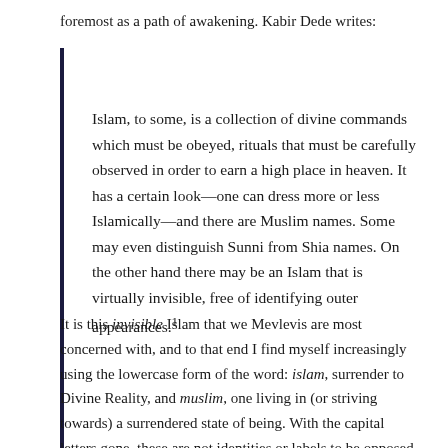foremost as a path of awakening.  Kabir Dede writes:
Islam, to some, is a collection of divine commands which must be obeyed, rituals that must be carefully observed in order to earn a high place in heaven.  It has a certain look—one can dress more or less Islamically—and there are Muslim names. Some may even distinguish Sunni from Shia names.  On the other hand there may be an Islam that is virtually invisible, free of identifying outer appearances.¹
It is this invisible Islam that we Mevlevis are most concerned with, and to that end I find myself increasingly using the lowercase form of the word: islam, surrender to Divine Reality, and muslim, one living in (or striving towards) a surrendered state of being.  With the capital letters gone, these are not identities or labels to be opposed to other such identities and labels, but simply transformation itself.